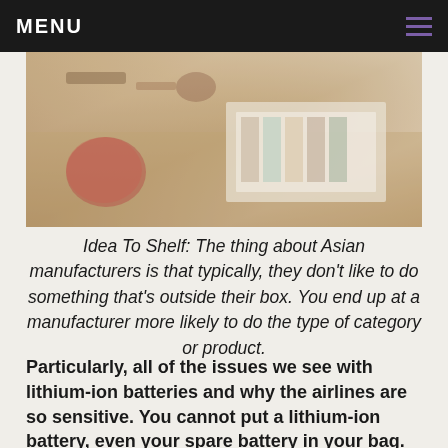MENU
[Figure (photo): Blurred photo of a desk workspace with papers, color swatches, craft materials and a small plant]
Idea To Shelf: The thing about Asian manufacturers is that typically, they don't like to do something that's outside their box. You end up at a manufacturer more likely to do the type of category or product.
Particularly, all of the issues we see with lithium-ion batteries and why the airlines are so sensitive. You cannot put a lithium-ion battery, even your spare battery in your bag. Check it in the cargo